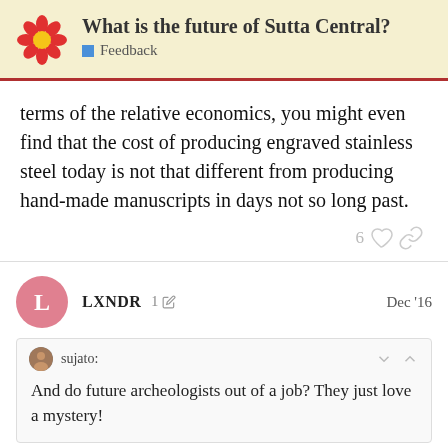What is the future of Sutta Central? Feedback
terms of the relative economics, you might even find that the cost of producing engraved stainless steel today is not that different from producing hand-made manuscripts in days not so long past.
LXNDR 1 Dec '16
sujato: And do future archeologists out of a job? They just love a mystery!
not to speak of paleographers/philologis
15 / 30